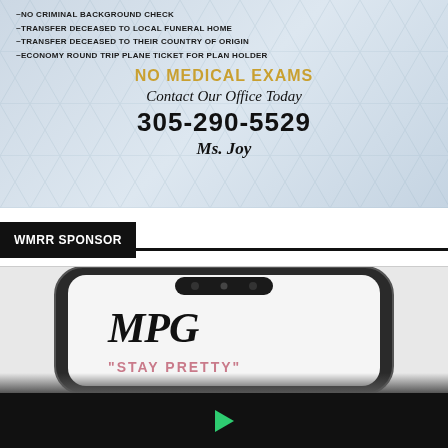~NO CRIMINAL BACKGROUND CHECK
~TRANSFER DECEASED TO LOCAL FUNERAL HOME
~TRANSFER DECEASED TO THEIR COUNTRY OF ORIGIN
~ECONOMY ROUND TRIP PLANE TICKET FOR PLAN HOLDER
NO MEDICAL EXAMS
Contact Our Office Today
305-290-5529
Ms. Joy
WMRR SPONSOR
[Figure (photo): Phone mockup displaying MPG 'Stay Pretty' branding on screen]